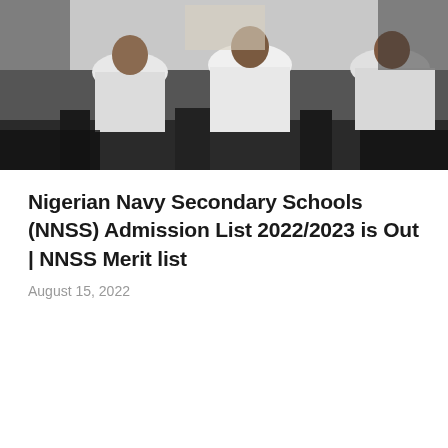[Figure (photo): Classroom scene showing students seated at desks, viewed from behind, wearing white shirts. Partial view of the room with chairs visible.]
Nigerian Navy Secondary Schools (NNSS) Admission List 2022/2023 is Out | NNSS Merit list
August 15, 2022